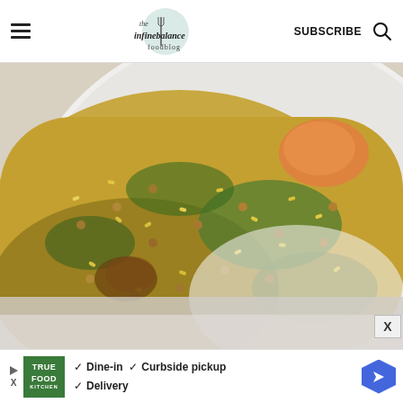the infinebalance foodblog | SUBSCRIBE
[Figure (photo): Close-up photo of a white bowl containing a rice and lentil dish with spinach/greens and what appears to be a piece of salmon or orange-colored fish, served on a light gray/white surface.]
X
TRUE FOOD KITCHEN | Dine-in | Curbside pickup | Delivery